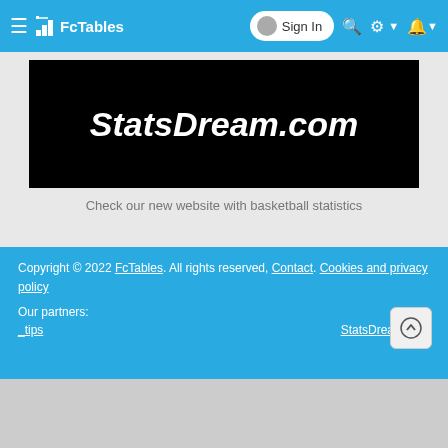≡ FcTables   Sign In 🔍 ⚙ 🔔
[Figure (screenshot): StatsDream.com advertisement banner with white bold italic text on black background]
Check our new website with basketball statistics
Copyright © 2022 FcTables. All rights reserved, Contact. Cookies and privacy policy
Our partners:
_tips   StatsDream.com